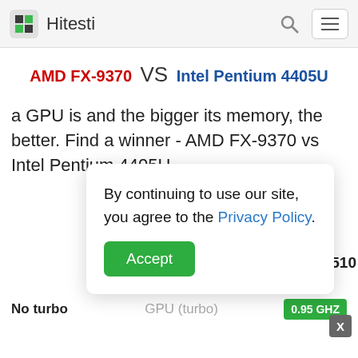Hitesti
AMD FX-9370 VS Intel Pentium 4405U
a GPU is and the bigger its memory, the better. Find a winner - AMD FX-9370 vs Intel Pentium 4405U.
By continuing to use our site, you agree to the Privacy Policy. Accept
No turbo  GPU (turbo)  0.95 GHZ